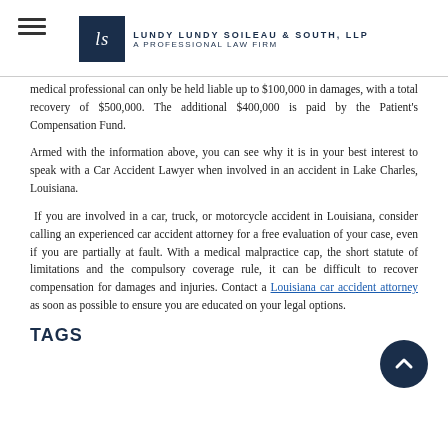Lundy Lundy Soileau & South, LLP — A Professional Law Firm
medical professional can only be held liable up to $100,000 in damages, with a total recovery of $500,000. The additional $400,000 is paid by the Patient's Compensation Fund.
Armed with the information above, you can see why it is in your best interest to speak with a Car Accident Lawyer when involved in an accident in Lake Charles, Louisiana.
If you are involved in a car, truck, or motorcycle accident in Louisiana, consider calling an experienced car accident attorney for a free evaluation of your case, even if you are partially at fault. With a medical malpractice cap, the short statute of limitations and the compulsory coverage rule, it can be difficult to recover compensation for damages and injuries. Contact a Louisiana car accident attorney as soon as possible to ensure you are educated on your legal options.
TAGS